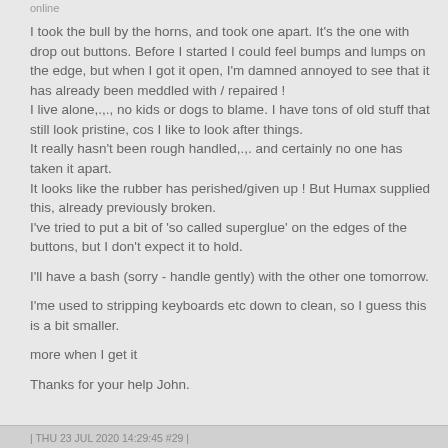online
I took the bull by the horns, and took one apart. It's the one with drop out buttons. Before I started I could feel bumps and lumps on the edge, but when I got it open, I'm damned annoyed to see that it has already been meddled with / repaired !
I live alone,.,., no kids or dogs to blame. I have tons of old stuff that still look pristine, cos I like to look after things.
It really hasn't been rough handled,.,. and certainly no one has taken it apart.
It looks like the rubber has perished/given up ! But Humax supplied this, already previously broken.
I've tried to put a bit of 'so called superglue' on the edges of the buttons, but I don't expect it to hold.

I'll have a bash (sorry - handle gently) with the other one tomorrow.

I'me used to stripping keyboards etc down to clean, so I guess this is a bit smaller.

more when I get it

Thanks for your help John.
| THU 23 JUL 2020 14:29:45 #29 |